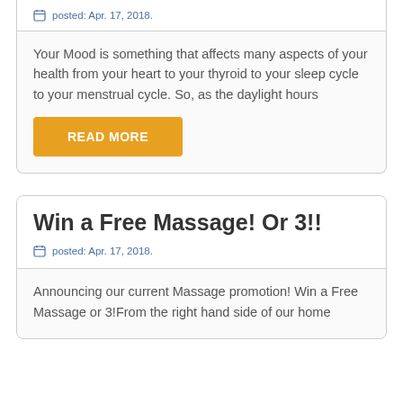posted: Apr. 17, 2018.
Your Mood is something that affects many aspects of your health from your heart to your thyroid to your sleep cycle to your menstrual cycle.  So, as the daylight hours
READ MORE
Win a Free Massage! Or 3!!
posted: Apr. 17, 2018.
Announcing our current Massage promotion!  Win a Free Massage or 3!From the right hand side of our home